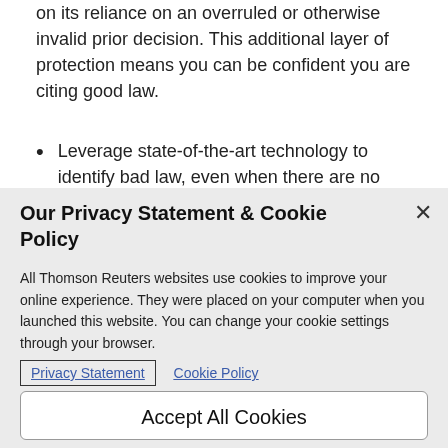on its reliance on an overruled or otherwise invalid prior decision. This additional layer of protection means you can be confident you are citing good law.
Leverage state-of-the-art technology to identify bad law, even when there are no direct citations calling the law
Our Privacy Statement & Cookie Policy
All Thomson Reuters websites use cookies to improve your online experience. They were placed on your computer when you launched this website. You can change your cookie settings through your browser.
Privacy Statement   Cookie Policy
Cookies Settings
Accept All Cookies